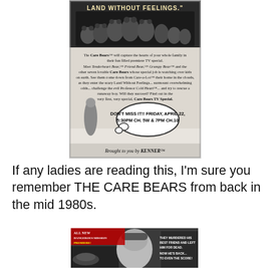[Figure (photo): Black and white vintage Care Bears TV special advertisement showing the Care Bears characters at the top with text 'LAND WITHOUT FEELINGS.' The ad body includes characters, promotional text about the Care Bears TV special, and a cloud graphic reading 'DON'T MISS IT!! FRIDAY, APRIL 22, 5:30PM CH. 5W & 7PM CH.10'. Bottom reads 'Brought to you by KENNER'.]
If any ladies are reading this, I'm sure you remember THE CARE BEARS from back in the mid 1980s.
[Figure (photo): Black and white action movie advertisement with text 'ALL NEW DANGEROUS MISSION PREMIERE!', 'THEY MURDERED HIS BEST FRIEND AND LEFT HIM FOR DEAD. NOW HE'S BACK TO EVEN THE SCORE!' showing a man's face and action scenes.]